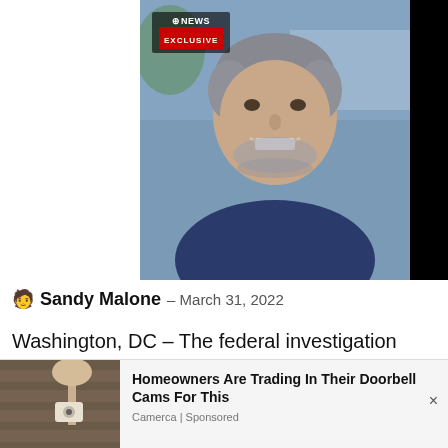[Figure (photo): ABC News Exclusive screenshot of a man with gray hair smiling, with a blurred kitchen background. ABC News Exclusive badge in upper left.]
🧑 Sandy Malone – March 31, 2022
Washington, DC – The federal investigation into President Joe Biden's son, Hunter Biden, has expanded and investigators are probing whether tax,
[Figure (photo): Advertisement showing a security camera on a wall with text: Homeowners Are Trading In Their Doorbell Cams For This. Camerca | Sponsored]